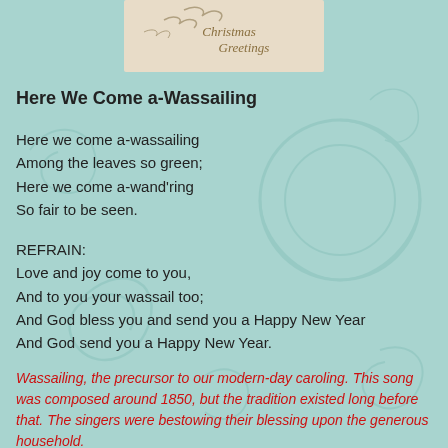[Figure (illustration): Vintage Christmas greeting card image with swallows/birds and cursive text reading 'Christmas Greetings']
Here We Come a-Wassailing
Here we come a-wassailing
Among the leaves so green;
Here we come a-wand'ring
So fair to be seen.
REFRAIN:
Love and joy come to you,
And to you your wassail too;
And God bless you and send you a Happy New Year
And God send you a Happy New Year.
Wassailing, the precursor to our modern-day caroling. This song was composed around 1850, but the tradition existed long before that. The singers were bestowing their blessing upon the generous household.